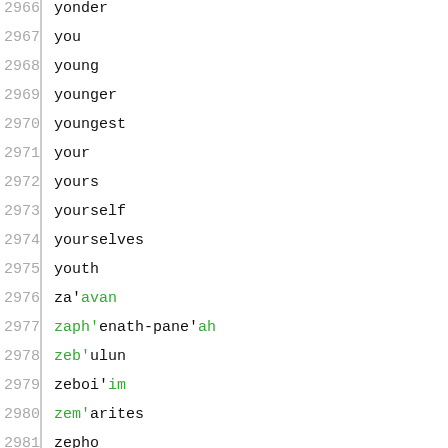2966  yonder
2967  you
2968  young
2969  younger
2970  youngest
2971  your
2972  yours
2973  yourself
2974  yourselves
2975  youth
2976  za'avan
2977  zaph'enath-pane'ah
2978  zeb'ulun
2979  zeboi'im
2980  zem'arites
2981  zepho
2982  zerah
2983  zib'eon
2984  zillah
2985  zilpah
2986  zimran